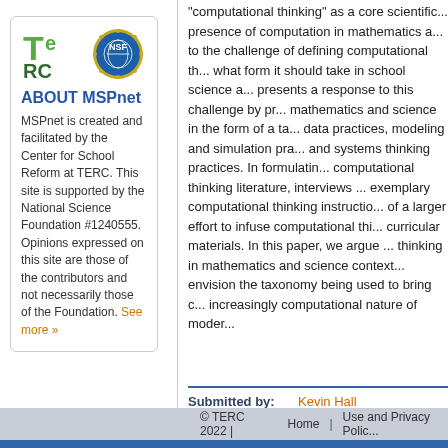[Figure (logo): TERC logo — green T and e, RC below in dark green]
[Figure (logo): NSF circular badge with blue globe and gold gear border]
ABOUT MSPnet
MSPnet is created and facilitated by the Center for School Reform at TERC. This site is supported by the National Science Foundation #1240555. Opinions expressed on this site are those of the contributors and not necessarily those of the Foundation. See more »
"computational thinking" as a core scientific ... presence of computation in mathematics a... to the challenge of defining computational th... what form it should take in school science a... presents a response to this challenge by pr... mathematics and science in the form of a ta... data practices, modeling and simulation pra... and systems thinking practices. In formulatin... computational thinking literature, interviews ... exemplary computational thinking instructio... of a larger effort to infuse computational thi... curricular materials. In this paper, we argue ... thinking in mathematics and science context... envision the taxonomy being used to bring c... increasingly computational nature of moder...
Submitted by:   Kevin Hall
Posted to Site:  09/13/2018
© TERC 2022 |   Home   |   Use and Privacy Polic...